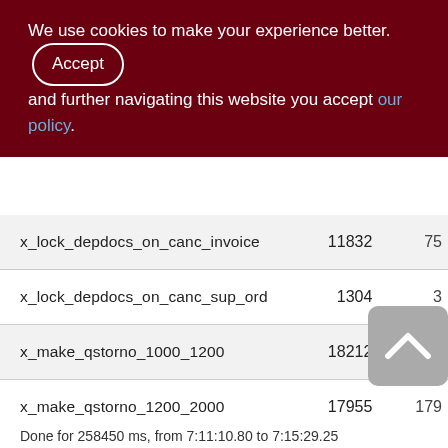We use cookies to make your experience better. By accepting and further navigating this website you accept our policy.
| Function | Col2 | Col3 |
| --- | --- | --- |
| x_lock_depdocs_on_canc_invoice | 11832 | 75 |
| x_lock_depdocs_on_canc_sup_ord | 1304 | 3 |
| x_make_qstorno_1000_1200 | 18212 | 182 |
| x_make_qstorno_1200_2000 | 17955 | 179 |
| x_make_qstorno_2100_3300 | 539980 | 5399 |
Done for 258450 ms, from 7:11:10.80 to 7:15:29.25